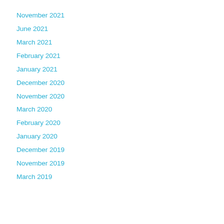November 2021
June 2021
March 2021
February 2021
January 2021
December 2020
November 2020
March 2020
February 2020
January 2020
December 2019
November 2019
March 2019